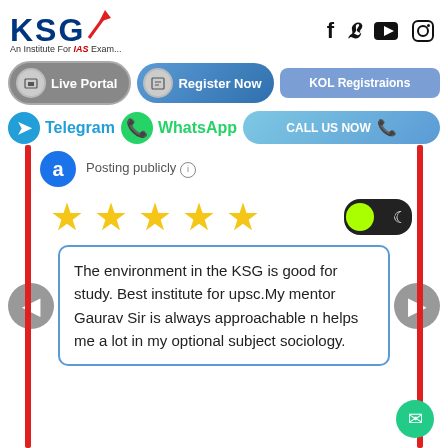[Figure (logo): KSG logo with red arrow upward and tagline 'An Institute For IAS Exam...']
[Figure (infographic): Social media icons: Facebook, Twitter, YouTube, Instagram]
[Figure (infographic): Navigation buttons: Live Portal, Register Now, KOL Registraions]
[Figure (infographic): Navigation buttons: Telegram, WhatsApp, CALL US NOW]
Posting publicly
[Figure (infographic): Five gold stars rating display with dark/light mode toggle]
The environment in the KSG is good for study. Best institute for upsc.My mentor Gaurav Sir is always approachable n helps me a lot in my optional subject sociology.